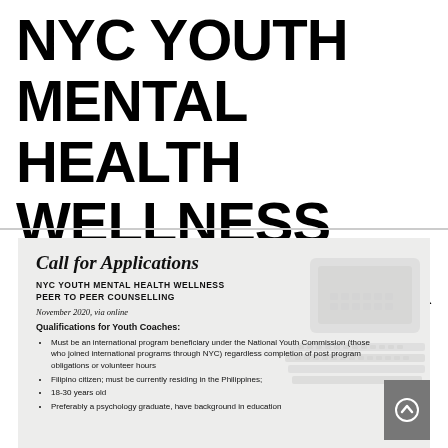NYC YOUTH MENTAL HEALTH WELLNESS PEER TO PEER COUNSELLING
[Figure (infographic): A flyer with a light gray background showing a 'Call for Applications' notice for NYC Youth Mental Health Wellness Peer to Peer Counselling, November 2020 via online, listing qualifications for Youth Coaches including bullet points about being an international program beneficiary, Filipino citizen, 18-30 years old, and preferably a psychology graduate.]